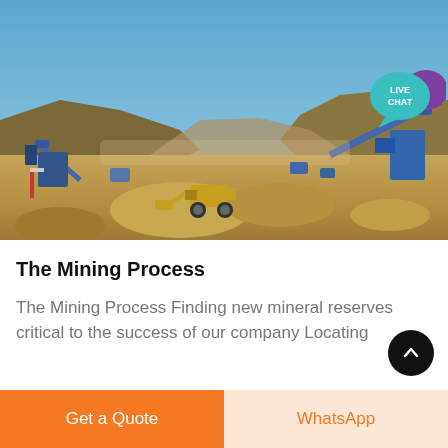[Figure (photo): Aerial view of a mining operation site with heavy machinery, conveyor belts, excavators, and piles of ore/rock material. Blue sky and hills in the background. A 'LIVE CHAT' speech bubble icon is visible in the upper right corner.]
The Mining Process
The Mining Process Finding new mineral reserves critical to the success of our company Locating